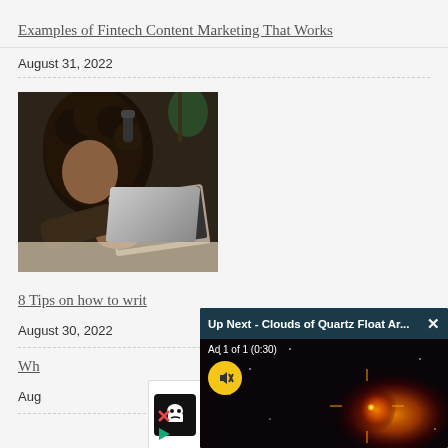Examples of Fintech Content Marketing That Works
August 31, 2022
[Figure (photo): Person with headphones working on a laptop, looking at charts, viewed from above]
8 Tips on how to writ…
August 30, 2022
Wh…
Aug…
[Figure (screenshot): Video overlay showing 'Up Next - Clouds of Quartz Float Ar...' with X close button and video thumbnail of glowing orange star/nebula. Ad 1 of 1 (0:30) label and muted button visible.]
[Figure (screenshot): Ad widget with cook/chef logo, checkmark and 'Dine-' text, play and X buttons]